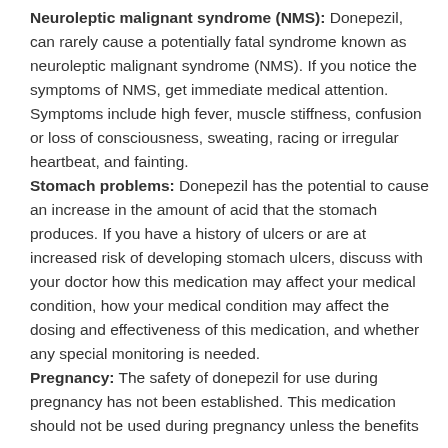Neuroleptic malignant syndrome (NMS): Donepezil, can rarely cause a potentially fatal syndrome known as neuroleptic malignant syndrome (NMS). If you notice the symptoms of NMS, get immediate medical attention. Symptoms include high fever, muscle stiffness, confusion or loss of consciousness, sweating, racing or irregular heartbeat, and fainting.
Stomach problems: Donepezil has the potential to cause an increase in the amount of acid that the stomach produces. If you have a history of ulcers or are at increased risk of developing stomach ulcers, discuss with your doctor how this medication may affect your medical condition, how your medical condition may affect the dosing and effectiveness of this medication, and whether any special monitoring is needed.
Pregnancy: The safety of donepezil for use during pregnancy has not been established. This medication should not be used during pregnancy unless the benefits outweigh the risks. If you become pregnant while taking this medication, contact your doctor immediately.